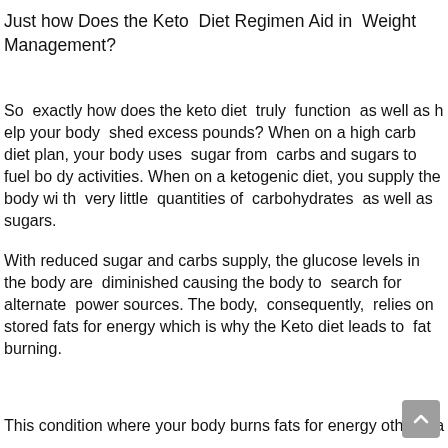Just how Does the Keto Diet Regimen Aid in Weight Management?
So exactly how does the keto diet truly function as well as help your body shed excess pounds? When on a high carb diet plan, your body uses sugar from carbs and sugars to fuel body activities. When on a ketogenic diet, you supply the body with very little quantities of carbohydrates as well as sugars.
With reduced sugar and carbs supply, the glucose levels in the body are diminished causing the body to search for alternate power sources. The body, consequently, relies on stored fats for energy which is why the Keto diet leads to fat burning.
This condition where your body burns fats for energy other tha